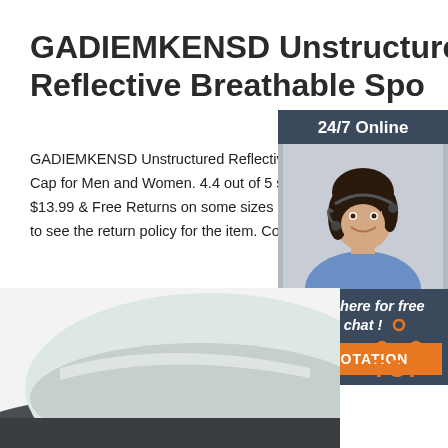GADIEMKENSD Unstructured Reflective Breathable Spo
GADIEMKENSD Unstructured Reflective Breathable Cap for Men and Women. 4.4 out of 5 stars. 584 rat $13.99 & Free Returns on some sizes and colors. S to see the return policy for the item. Color: Women-b
[Figure (other): Orange 'Get Price' button]
[Figure (photo): Chat widget with '24/7 Online' header, photo of smiling woman with headset, 'Click here for free chat!' text, and orange QUOTATION button]
[Figure (logo): Orange TOP button with upward-pointing dots forming a triangle shape]
[Figure (photo): Product photo showing a reflective sports cap, light gray and dark gray tones]